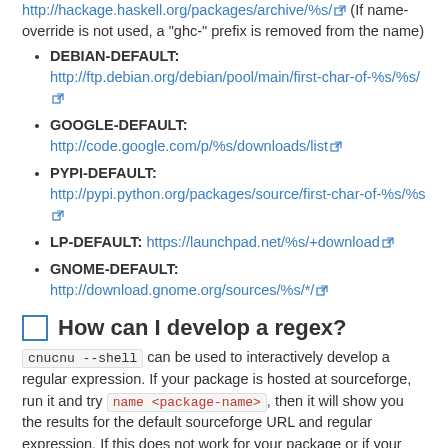http://hackage.haskell.org/packages/archive/%s/ (If name-override is not used, a "ghc-" prefix is removed from the name)
DEBIAN-DEFAULT: http://ftp.debian.org/debian/pool/main/first-char-of-%s/%s/
GOOGLE-DEFAULT: http://code.google.com/p/%s/downloads/list
PYPI-DEFAULT: http://pypi.python.org/packages/source/first-char-of-%s/%s
LP-DEFAULT: https://launchpad.net/%s/+download
GNOME-DEFAULT: http://download.gnome.org/sources/%s/*/
How can I develop a regex?
cnucnu --shell can be used to interactively develop a regular expression. If your package is hosted at sourceforge, run it and try name <package-name>, then it will show you the results for the default sourceforge URL and regular expression. If this does not work for your package or if your